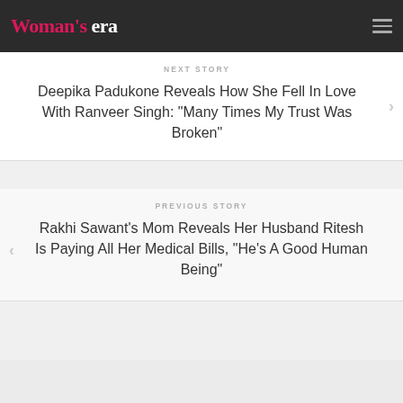Woman's Era
NEXT STORY
Deepika Padukone Reveals How She Fell In Love With Ranveer Singh: “Many Times My Trust Was Broken”
PREVIOUS STORY
Rakhi Sawant’s Mom Reveals Her Husband Ritesh Is Paying All Her Medical Bills, “He’s A Good Human Being”